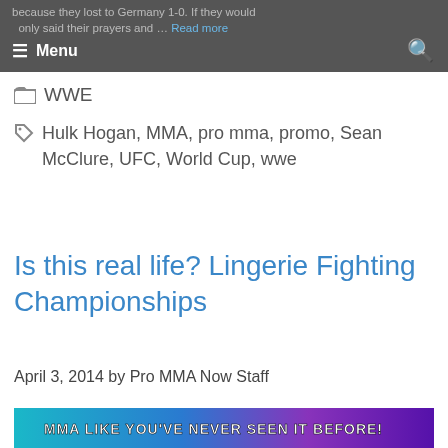because they lost to Germany 1-0. If they would … only said their prayers and … Read more
WWE
Hulk Hogan, MMA, pro mma, promo, Sean McClure, UFC, World Cup, wwe
Is this real life? Lingerie Fighting Championships
April 3, 2014 by Pro MMA Now Staff
[Figure (photo): Promotional image for Lingerie Fighting Championships with text 'MMA LIKE YOU'VE NEVER SEEN IT BEFORE!' over blue/purple lit background with two blonde women]